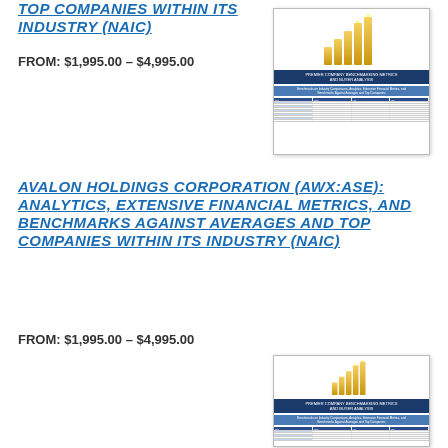TOP COMPANIES WITHIN ITS INDUSTRY (NAIC)
FROM: $1,995.00 – $4,995.00
[Figure (illustration): Thumbnail image of a financial benchmark report cover with gold bar chart graphic and table data]
AVALON HOLDINGS CORPORATION (AWX:ASE): ANALYTICS, EXTENSIVE FINANCIAL METRICS, AND BENCHMARKS AGAINST AVERAGES AND TOP COMPANIES WITHIN ITS INDUSTRY (NAIC)
FROM: $1,995.00 – $4,995.00
[Figure (illustration): Thumbnail image of a financial benchmark report cover with gold bar chart graphic and table data]